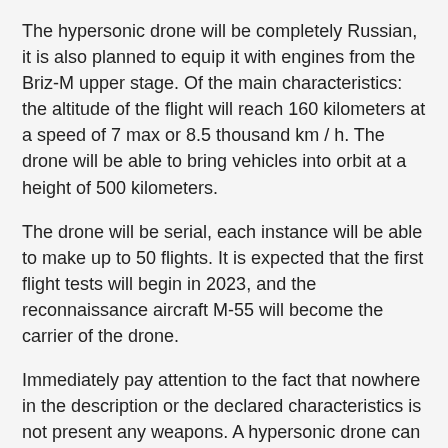The hypersonic drone will be completely Russian, it is also planned to equip it with engines from the Briz-M upper stage. Of the main characteristics: the altitude of the flight will reach 160 kilometers at a speed of 7 max or 8.5 thousand km / h. The drone will be able to bring vehicles into orbit at a height of 500 kilometers.
The drone will be serial, each instance will be able to make up to 50 flights. It is expected that the first flight tests will begin in 2023, and the reconnaissance aircraft M-55 will become the carrier of the drone.
Immediately pay attention to the fact that nowhere in the description or the declared characteristics is not present any weapons. A hypersonic drone can simply very quickly bring vehicles into orbit. However, it is not difficult to guess that the United States also sees the Russian hypersonic threat in it.
Legal aspect
Wouldn't American orbital weapons violate any